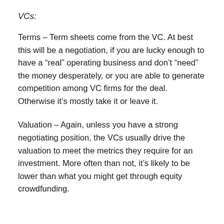VCs:
Terms – Term sheets come from the VC. At best this will be a negotiation, if you are lucky enough to have a “real” operating business and don’t “need” the money desperately, or you are able to generate competition among VC firms for the deal. Otherwise it’s mostly take it or leave it.
Valuation – Again, unless you have a strong negotiating position, the VCs usually drive the valuation to meet the metrics they require for an investment. More often than not, it’s likely to be lower than what you might get through equity crowdfunding.